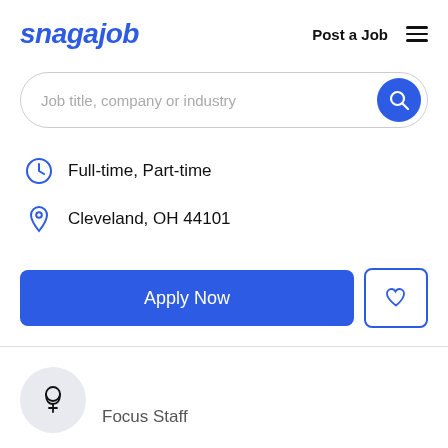snagajob   Post a Job  ☰
Job title, company or industry
Full-time, Part-time
Cleveland, OH 44101
Apply Now
[Figure (logo): Stethoscope icon in a light grey circle, representing a medical staffing company logo]
Focus Staff